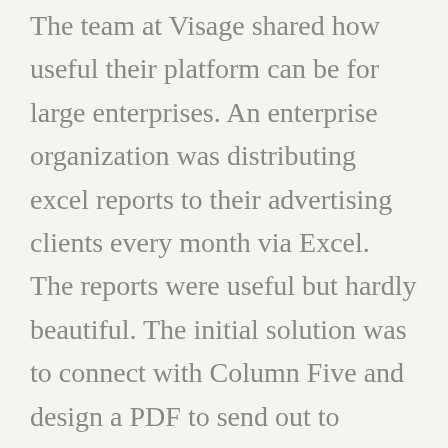The team at Visage shared how useful their platform can be for large enterprises. An enterprise organization was distributing excel reports to their advertising clients every month via Excel. The reports were useful but hardly beautiful. The initial solution was to connect with Column Five and design a PDF to send out to clients, but the solution would be designed in a way that other staff members wouldn't be able to edit the data unless they were efficient with Illustrator. With Visage these obstacles get turned into vapor.